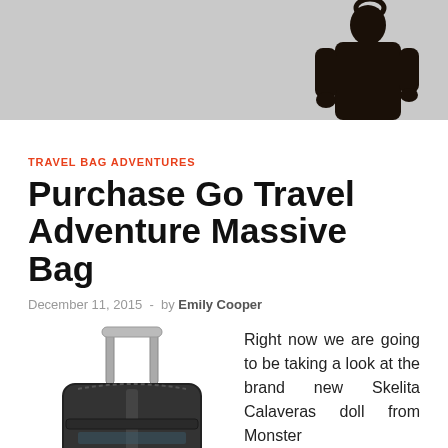[Figure (photo): Top banner photo showing a person in dark clothing holding a bag against a light grey background]
TRAVEL BAG ADVENTURES
Purchase Go Travel Adventure Massive Bag
December 11, 2015  -  by Emily Cooper
[Figure (photo): Photo of a dark grey/black rolling luggage bag (Osprey brand) with telescoping handle extended]
Right now we are going to be taking a look at the brand new Skelita Calaveras doll from Monster